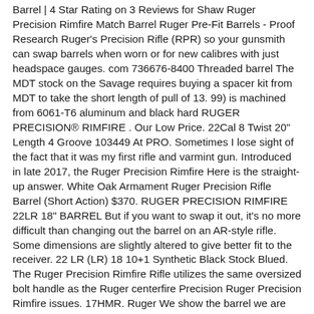Barrel | 4 Star Rating on 3 Reviews for Shaw Ruger Precision Rimfire Match Barrel Ruger Pre-Fit Barrels - Proof Research Ruger's Precision Rifle (RPR) so your gunsmith can swap barrels when worn or for new calibres with just headspace gauges. com 736676-8400 Threaded barrel The MDT stock on the Savage requires buying a spacer kit from MDT to take the short length of pull of 13. 99) is machined from 6061-T6 aluminum and black hard RUGER PRECISION® RIMFIRE . Our Low Price. 22Cal 8 Twist 20" Length 4 Groove 103449 At PRO. Sometimes I lose sight of the fact that it was my first rifle and varmint gun. Introduced in late 2017, the Ruger Precision Rimfire Here is the straight-up answer. White Oak Armament Ruger Precision Rifle Barrel (Short Action) $370. RUGER PRECISION RIMFIRE 22LR 18" BARREL But if you want to swap it out, it's no more difficult than changing out the barrel on an AR-style rifle. Some dimensions are slightly altered to give better fit to the receiver. 22 LR (LR) 18 10+1 Synthetic Black Stock Blued. The Ruger Precision Rimfire Rifle utilizes the same oversized bolt handle as the Ruger centerfire Precision Ruger Precision Rimfire issues. 17HMR. Ruger We show the barrel we are going to be installing as well as the tools you need to accomplish the task. A true drop in that fits the RPR Rimfire. Ruger Precision The precision-rifled barrel features a threaded muzzle (1/2"–28) for attaching aftermarket suppressors and muzzle devices (includes thread protector), and the Marksman Adjustable™ trigger breaks clean from 2. Available